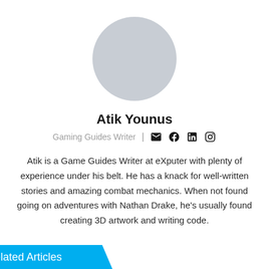[Figure (photo): Circular gray placeholder avatar image]
Atik Younus
Gaming Guides Writer | [email icon] [facebook icon] [linkedin icon] [instagram icon]
Atik is a Game Guides Writer at eXputer with plenty of experience under his belt. He has a knack for well-written stories and amazing combat mechanics. When not found going on adventures with Nathan Drake, he's usually found creating 3D artwork and writing code.
Related Articles
[Figure (photo): Gray placeholder image card 1]
[Figure (photo): Gray placeholder image card 2]